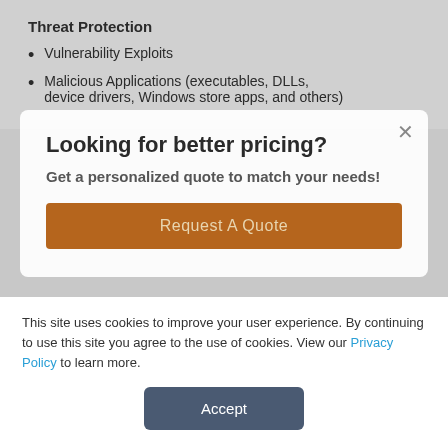Threat Protection
Vulnerability Exploits
Malicious Applications (executables, DLLs, device drivers, Windows store apps, and others)
Looking for better pricing?
Get a personalized quote to match your needs!
Request A Quote
Ready to Get Started with Trend Micro?
From offering expert advice to solving complex problems, we've got you covered. Get in touch
This site uses cookies to improve your user experience. By continuing to use this site you agree to the use of cookies. View our Privacy Policy to learn more.
Accept